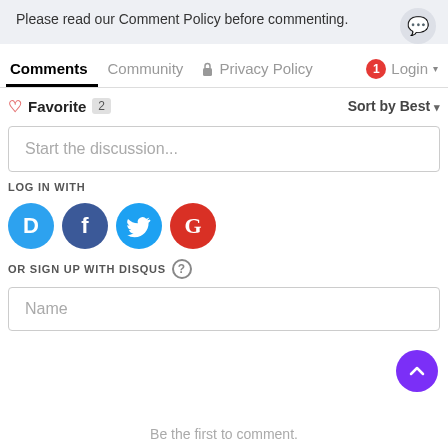Please read our Comment Policy before commenting.
Comments   Community   🔒 Privacy Policy   1 Login ▾
♡ Favorite  2   Sort by Best ▾
Start the discussion...
LOG IN WITH
[Figure (infographic): Social login icons: Disqus (blue), Facebook (dark blue), Twitter (light blue), Google (red)]
OR SIGN UP WITH DISQUS ?
Name
Be the first to comment.